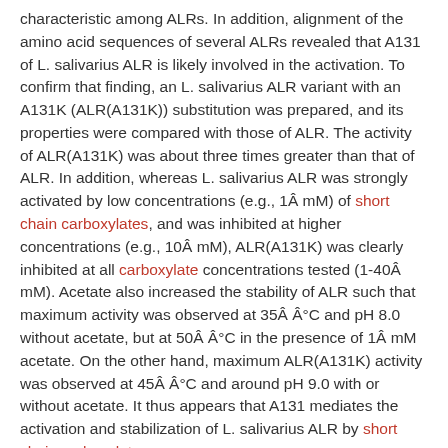characteristic among ALRs. In addition, alignment of the amino acid sequences of several ALRs revealed that A131 of L. salivarius ALR is likely involved in the activation. To confirm that finding, an L. salivarius ALR variant with an A131K (ALR(A131K)) substitution was prepared, and its properties were compared with those of ALR. The activity of ALR(A131K) was about three times greater than that of ALR. In addition, whereas L. salivarius ALR was strongly activated by low concentrations (e.g., 1Â mM) of short chain carboxylates, and was inhibited at higher concentrations (e.g., 10Â mM), ALR(A131K) was clearly inhibited at all carboxylate concentrations tested (1-40Â mM). Acetate also increased the stability of ALR such that maximum activity was observed at 35Â Â°C and pH 8.0 without acetate, but at 50Â Â°C in the presence of 1Â mM acetate. On the other hand, maximum ALR(A131K) activity was observed at 45Â Â°C and around pH 9.0 with or without acetate. It thus appears that A131 mediates the activation and stabilization of L. salivarius ALR by short chain carboxylates.
2. Microbial synthesis of a branched-chain ester platform from organic waste carboxylates